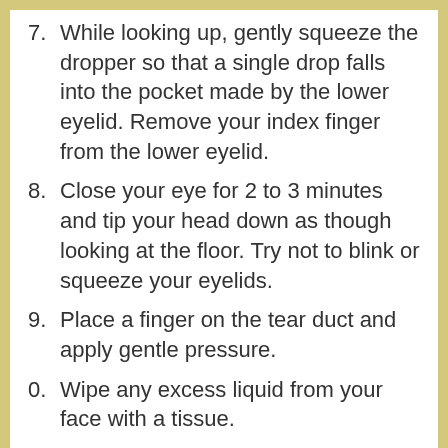7. While looking up, gently squeeze the dropper so that a single drop falls into the pocket made by the lower eyelid. Remove your index finger from the lower eyelid.
8. Close your eye for 2 to 3 minutes and tip your head down as though looking at the floor. Try not to blink or squeeze your eyelids.
9. Place a finger on the tear duct and apply gentle pressure.
10. Wipe any excess liquid from your face with a tissue.
11. If you are to use more than one drop in the same eye, wait at